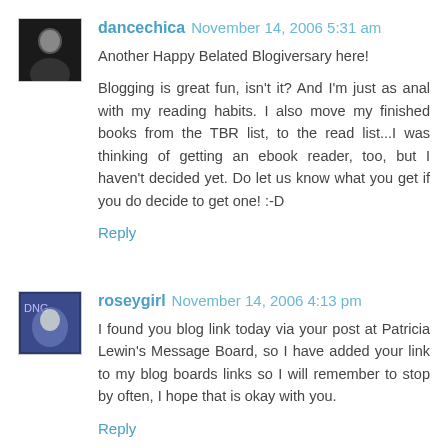dancechica November 14, 2006 5:31 am
Another Happy Belated Blogiversary here!

Blogging is great fun, isn't it? And I'm just as anal with my reading habits. I also move my finished books from the TBR list, to the read list...I was thinking of getting an ebook reader, too, but I haven't decided yet. Do let us know what you get if you do decide to get one! :-D
Reply
roseygirl November 14, 2006 4:13 pm
I found you blog link today via your post at Patricia Lewin's Message Board, so I have added your link to my blog boards links so I will remember to stop by often, I hope that is okay with you.
Reply